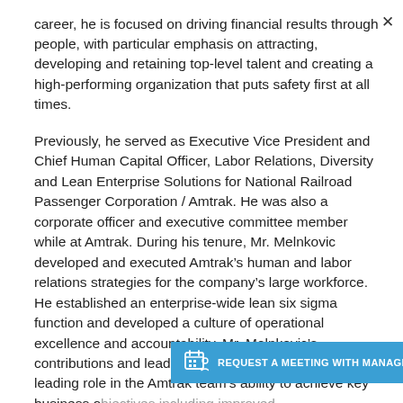career, he is focused on driving financial results through people, with particular emphasis on attracting, developing and retaining top-level talent and creating a high-performing organization that puts safety first at all times.
Previously, he served as Executive Vice President and Chief Human Capital Officer, Labor Relations, Diversity and Lean Enterprise Solutions for National Railroad Passenger Corporation / Amtrak. He was also a corporate officer and executive committee member while at Amtrak. During his tenure, Mr. Melnkovic developed and executed Amtrak's human and labor relations strategies for the company's large workforce. He established an enterprise-wide lean six sigma function and developed a culture of operational excellence and accountability. Mr. Melnkovic's contributions and leadership in these areas played a leading role in the Amtrak team's ability to achieve key business o... ridership, customer satisfaction and savings. During his tenure, Amtrak and the Forbes Best Employers list...
[Figure (other): Blue CTA banner overlay reading 'REQUEST A MEETING WITH MANAGEMENT' with a calendar/meeting icon and a close (X) button]